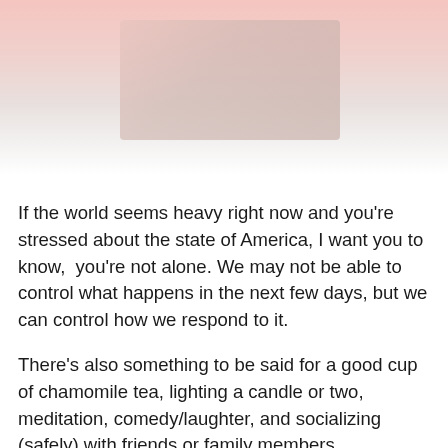[Figure (photo): Blurred/faded photo at top of page, showing soft pink and muted tones, partially visible image content]
If the world seems heavy right now and you're stressed about the state of America, I want you to know,  you're not alone. We may not be able to control what happens in the next few days, but we can control how we respond to it.
There's also something to be said for a good cup of chamomile tea, lighting a candle or two, meditation, comedy/laughter, and socializing (safely) with friends or family members.